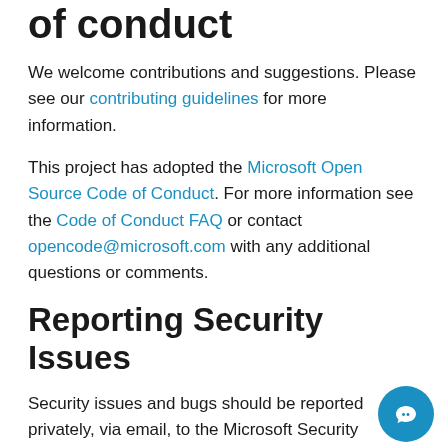of conduct
We welcome contributions and suggestions. Please see our contributing guidelines for more information.
This project has adopted the Microsoft Open Source Code of Conduct. For more information see the Code of Conduct FAQ or contact opencode@microsoft.com with any additional questions or comments.
Reporting Security Issues
Security issues and bugs should be reported privately, via email, to the Microsoft Security Response Center (MSRC) at secure@microsoft.com. You should receive a response within 24 hours. If for some reason you do not, please follow up via email to ensure we received your original message. Further information, including the MSRC PGP key, can be found in the Security TechCenter.